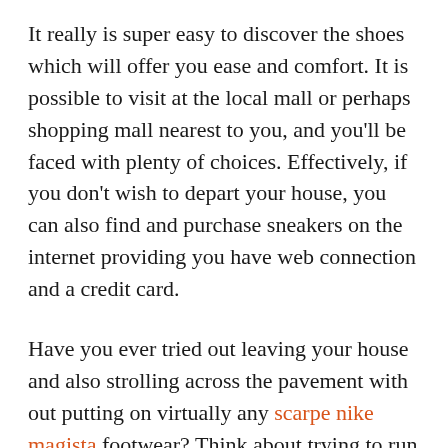It really is super easy to discover the shoes which will offer you ease and comfort. It is possible to visit at the local mall or perhaps shopping mall nearest to you, and you'll be faced with plenty of choices. Effectively, if you don't wish to depart your house, you can also find and purchase sneakers on the internet providing you have web connection and a credit card.
Have you ever tried out leaving your house and also strolling across the pavement with out putting on virtually any scarpe nike magista footwear? Think about trying to run around your location and also shopping in shopping malls with no putting on shoes or boots? That could appear ludicrous. Shoes or boots supply protection for toes against a variety of parasites available about filthy pavement. Besides protection, it also spares each of our feet via receiving injured by walking upon tough surfaces. This is exactly why if you are planning to watch out for